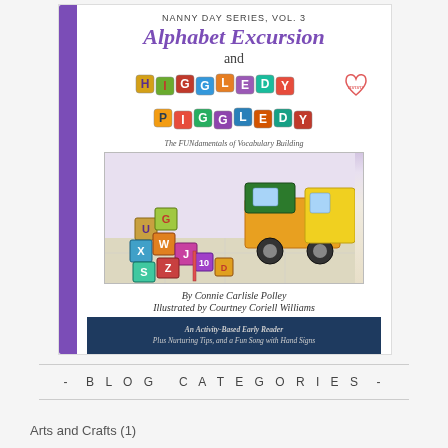[Figure (illustration): Book cover for 'Nanny Day Series, Vol. 3: Alphabet Excursion and Higgledy Piggledy' by Connie Carlisle Polley, illustrated by Courtney Coriell Williams. Cover shows alphabet blocks and a toy truck illustration. Purple spine on left. Dark blue banner at bottom reads: An Activity-Based Early Reader Plus Nurturing Tips, and a Fun Song with Hand Signs.]
- BLOG CATEGORIES -
Arts and Crafts (1)